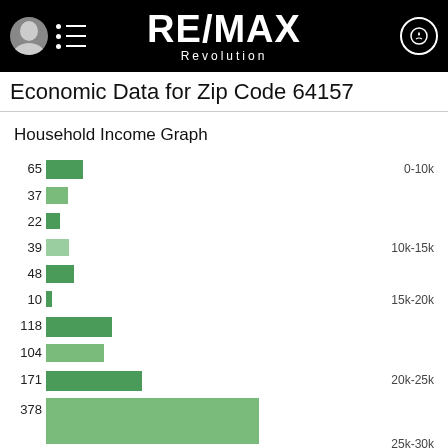RE/MAX Revolution
Economic Data for Zip Code 64157
Household Income Graph
[Figure (bar-chart): Household Income Graph]